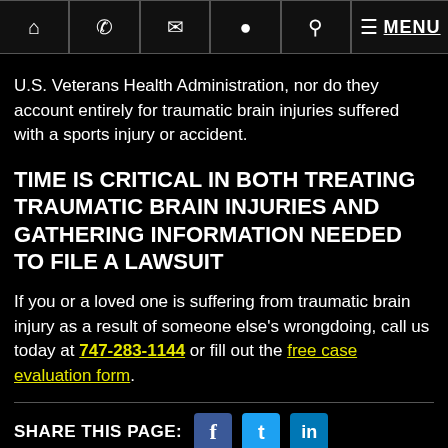Navigation bar with home, phone, email, location, search, menu icons and MENU link
U.S. Veterans Health Administration, nor do they account entirely for traumatic brain injuries suffered with a sports injury or accident.
TIME IS CRITICAL IN BOTH TREATING TRAUMATIC BRAIN INJURIES AND GATHERING INFORMATION NEEDED TO FILE A LAWSUIT
If you or a loved one is suffering from traumatic brain injury as a result of someone else's wrongdoing, call us today at 747-283-1144 or fill out the free case evaluation form.
SHARE THIS PAGE: